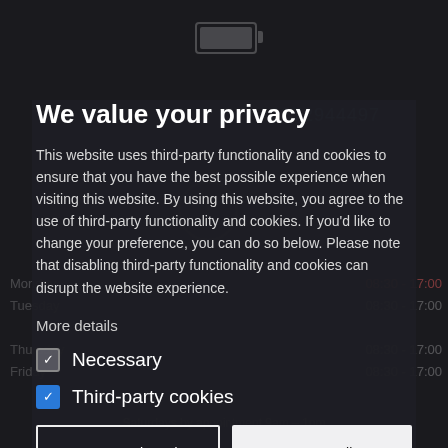We value your privacy
This website uses third-party functionality and cookies to ensure that you have the best possible experience when visiting this website. By using this website, you agree to the use of third-party functionality and cookies. If you'd like to change your preference, you can do so below. Please note that disabling third-party functionality and cookies can disrupt the website experience.
More details
Necessary
Third-party cookies
Accept selected
Accept all